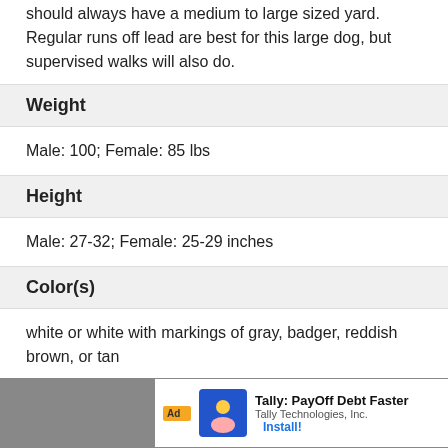should always have a medium to large sized yard. Regular runs off lead are best for this large dog, but supervised walks will also do.
Weight
Male: 100; Female: 85 lbs
Height
Male: 27-32; Female: 25-29 inches
Color(s)
white or white with markings of gray, badger, reddish brown, or tan
Characteristics
Size:
Gro...